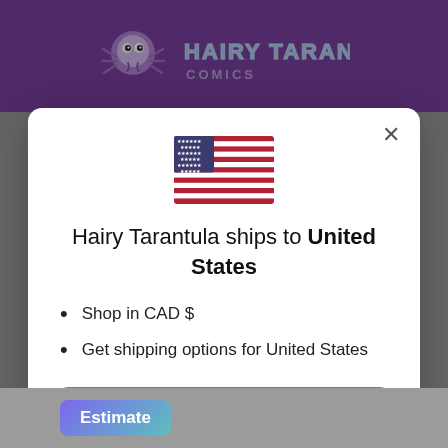[Figure (screenshot): Purple header bar with Hairy Tarantula logo (spider creature illustration and stylized graffiti text)]
[Figure (illustration): US flag emoji illustration centered in modal]
Hairy Tarantula ships to United States
Shop in CAD $
Get shipping options for United States
Shop now
Change shipping country
[Figure (screenshot): Bottom grey bar with partial 'Estimate' button visible]